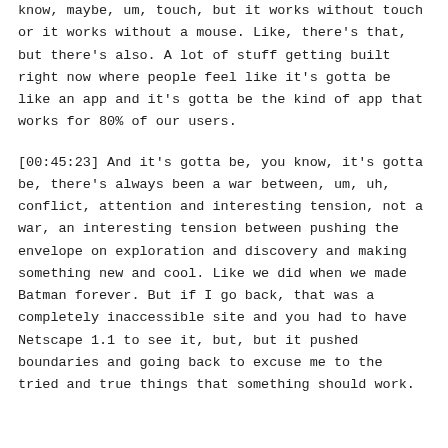know, maybe, um, touch, but it works without touch or it works without a mouse. Like, there's that, but there's also. A lot of stuff getting built right now where people feel like it's gotta be like an app and it's gotta be the kind of app that works for 80% of our users.
[00:45:23] And it's gotta be, you know, it's gotta be, there's always been a war between, um, uh, conflict, attention and interesting tension, not a war, an interesting tension between pushing the envelope on exploration and discovery and making something new and cool. Like we did when we made Batman forever. But if I go back, that was a completely inaccessible site and you had to have Netscape 1.1 to see it, but, but it pushed boundaries and going back to excuse me to the tried and true things that something should work.